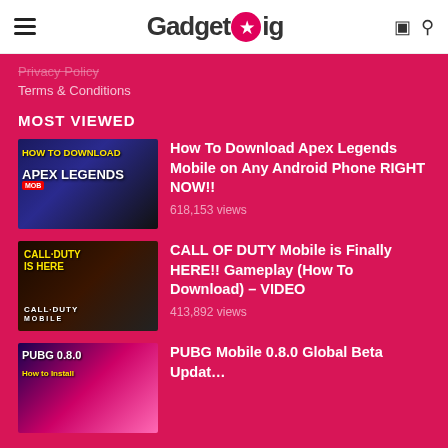GadgetGig
Privacy Policy
Terms & Conditions
MOST VIEWED
[Figure (screenshot): Thumbnail for Apex Legends Mobile download article]
How To Download Apex Legends Mobile on Any Android Phone RIGHT NOW!!
618,153 views
[Figure (screenshot): Thumbnail for Call of Duty Mobile article]
CALL OF DUTY Mobile is Finally HERE!! Gameplay (How To Download) – VIDEO
413,892 views
[Figure (screenshot): Thumbnail for PUBG Mobile 0.8.0 article]
PUBG Mobile 0.8.0 Global Beta Updat…